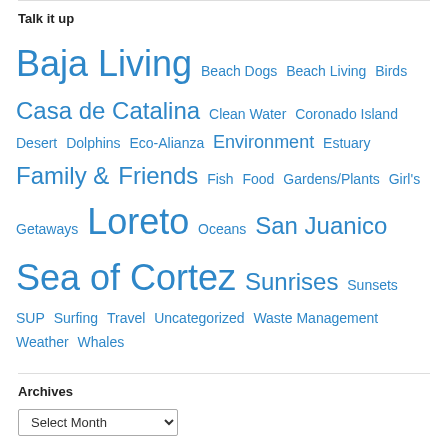Talk it up
Baja Living Beach Dogs Beach Living Birds Casa de Catalina Clean Water Coronado Island Desert Dolphins Eco-Alianza Environment Estuary Family & Friends Fish Food Gardens/Plants Girl's Getaways Loreto Oceans San Juanico Sea of Cortez Sunrises Sunsets SUP Surfing Travel Uncategorized Waste Management Weather Whales
Archives